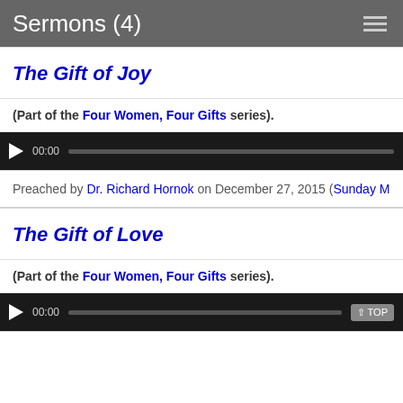Sermons (4)
The Gift of Joy
(Part of the Four Women, Four Gifts series).
[Figure (other): Audio player with play button, 00:00 timestamp, and progress bar on dark background]
Preached by Dr. Richard Hornok on December 27, 2015 (Sunday M...
The Gift of Love
(Part of the Four Women, Four Gifts series).
[Figure (other): Audio player with play button, 00:00 timestamp, progress bar on dark background, and TOP button]